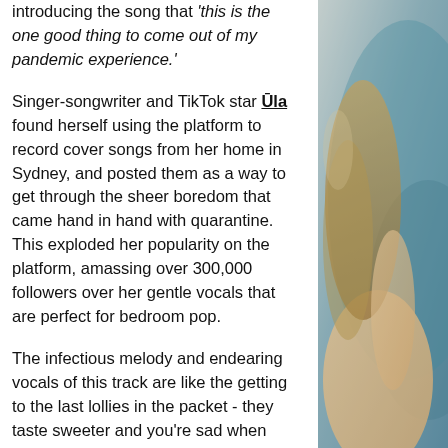introducing the song that 'this is the one good thing to come out of my pandemic experience.'
Singer-songwriter and TikTok star Ūla found herself using the platform to record cover songs from her home in Sydney, and posted them as a way to get through the sheer boredom that came hand in hand with quarantine. This exploded her popularity on the platform, amassing over 300,000 followers over her gentle vocals that are perfect for bedroom pop.
The infectious melody and endearing vocals of this track are like the getting to the last lollies in the packet - they taste sweeter and you're sad when
[Figure (photo): Photo of a person (likely Ūla) against a blue background, partially visible on the right side of the page]